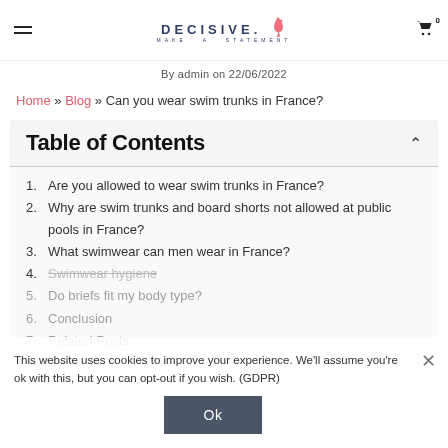DECISIVE. MAKE A STATEMENT
By admin on 22/06/2022
Home » Blog » Can you wear swim trunks in France?
Table of Contents
1. Are you allowed to wear swim trunks in France?
2. Why are swim trunks and board shorts not allowed at public pools in France?
3. What swimwear can men wear in France?
4. Swimwear hygiene
5. Do briefs fit my body type?
6. Conclusion
7. Related Posts
This website uses cookies to improve your experience. We'll assume you're ok with this, but you can opt-out if you wish. (GDPR)